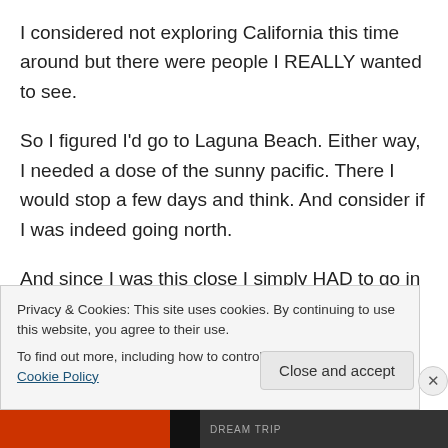I considered not exploring California this time around but there were people I REALLY wanted to see.
So I figured I'd go to Laguna Beach. Either way, I needed a dose of the sunny pacific. There I would stop a few days and think. And consider if I was indeed going north.
And since I was this close I simply HAD to go in to LA. Some of my favorite people have four new girls since I saw them last and I want to know who these girls are as
Privacy & Cookies: This site uses cookies. By continuing to use this website, you agree to their use.
To find out more, including how to control cookies, see here: Cookie Policy